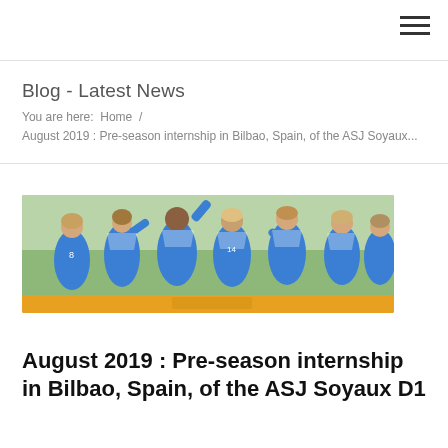Blog - Latest News
You are here:  Home  /
August 2019 : Pre-season internship in Bilbao, Spain, of the ASJ Soyaux...
[Figure (photo): Female soccer players in blue uniforms celebrating, high-fiving each other on a field]
August 2019 : Pre-season internship in Bilbao, Spain, of the ASJ Soyaux D1